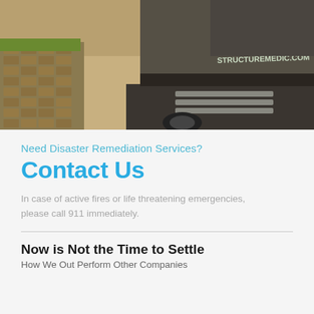[Figure (photo): Truck with 'structuremedic.com' text on the back, parked on a driveway with brick pavers and grass visible on the left side.]
Need Disaster Remediation Services?
Contact Us
In case of active fires or life threatening emergencies, please call 911 immediately.
Now is Not the Time to Settle
How We Out Perform Other Companies